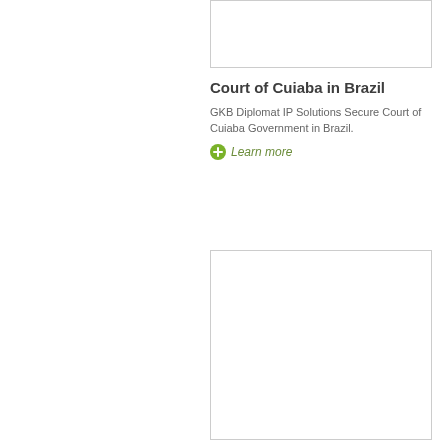[Figure (photo): Placeholder image box for Court of Cuiaba in Brazil]
Court of Cuiaba in Brazil
GKB Diplomat IP Solutions Secure Court of Cuiaba Government in Brazil.
Learn more
[Figure (photo): Placeholder image box for National Chiang Mai University (CMU)]
National Chiang Mai University (CMU) in